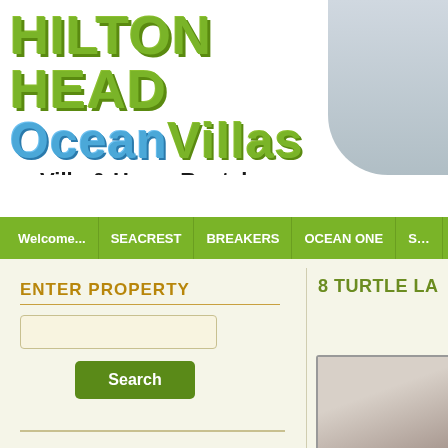[Figure (logo): Hilton Head Ocean Villas logo with green 'HILTON HEAD' text and blue/green 'OceanVillas' text, plus beach scene photo on right]
Villa & Home Rentals
[Figure (screenshot): Navigation bar with green background and menu items: Welcome..., SEACREST, BREAKERS, OCEAN ONE, S...]
ENTER PROPERTY
[Figure (screenshot): Search input box (text field) for entering property]
Search
8 TURTLE LA
[Figure (photo): Property photo thumbnail (partially visible, grayish-brown tones)]